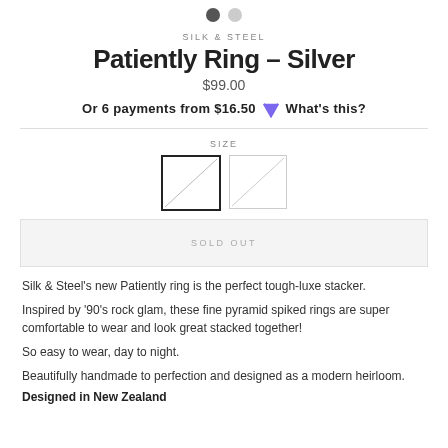[Figure (other): Two navigation dots, one dark and one light, indicating image carousel position]
SILK & STEEL
Patiently Ring – Silver
$99.00
Or 6 payments from $16.50 [heart icon] What's this?
[Figure (other): SIZE selector with two size boxes, first selected (black border), second crossed out/disabled]
SOLD OUT
Silk & Steel's new Patiently ring is the perfect tough-luxe stacker.
Inspired by '90's rock glam, these fine pyramid spiked rings are super comfortable to wear and look great stacked together!
So easy to wear, day to night.
Beautifully handmade to perfection and designed as a modern heirloom.
Designed in New Zealand